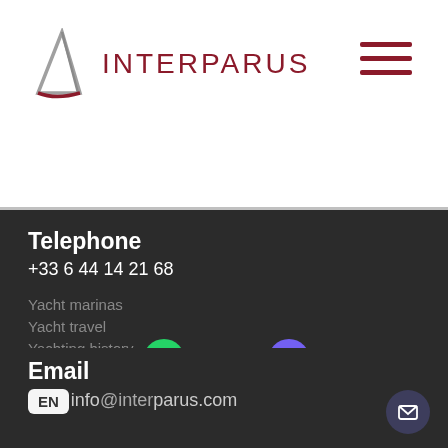[Figure (logo): Interparus logo with a triangular sail icon in grey/silver and the text INTERPARUS in dark red/maroon]
[Figure (other): Hamburger menu icon with three dark red horizontal lines]
Telephone
+33 6 44 14 21 68
Yacht marinas
Yacht travel
Yachting history
Whatsapp  Viber
Email
info@interparus.com